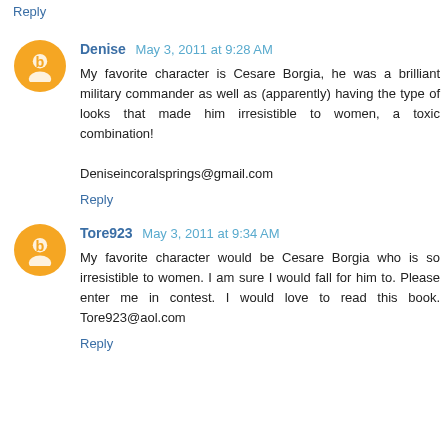Reply
Denise  May 3, 2011 at 9:28 AM
My favorite character is Cesare Borgia, he was a brilliant military commander as well as (apparently) having the type of looks that made him irresistible to women, a toxic combination!

Deniseincoralsprings@gmail.com
Reply
Tore923  May 3, 2011 at 9:34 AM
My favorite character would be Cesare Borgia who is so irresistible to women. I am sure I would fall for him to. Please enter me in contest. I would love to read this book. Tore923@aol.com
Reply